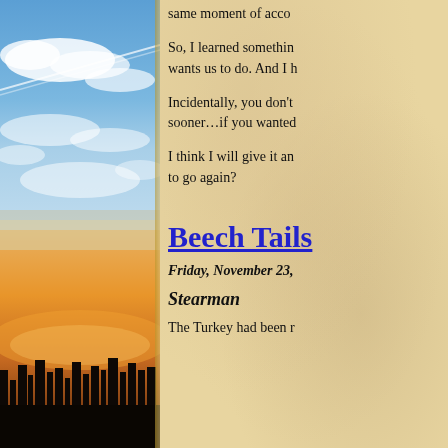[Figure (photo): Outdoor landscape photo split in two vertical halves: upper portion shows blue sky with clouds and a contrail, lower portion shows a sunset/dusk scene with silhouetted bare trees and warm orange/pink sky near horizon.]
same moment of acco
So, I learned somethin wants us to do. And I h
Incidentally, you don't sooner…if you wanted
I think I will give it an to go again?
Beech Tails
Friday, November 23,
Stearman
The Turkey had been r